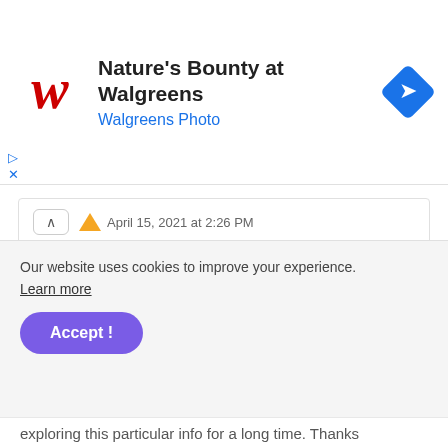[Figure (logo): Walgreens W logo in red cursive, followed by bold title 'Nature’s Bounty at Walgreens' and blue subtitle 'Walgreens Photo', with a blue diamond navigation arrow icon on the right]
April 15, 2021 at 2:26 PM
Hey, this day is too much good for me, since this time I am reading this enormous informative article here at my home. Thanks a lot for massive hard work. Text Auto Reply
Reply
Our website uses cookies to improve your experience. Learn more
Accept !
exploring this particular info for a long time. Thanks